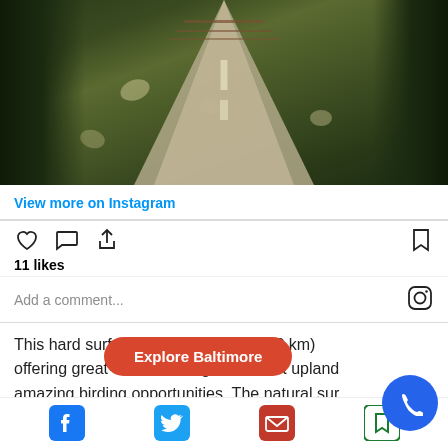[Figure (photo): Outdoor paved trail/path through a green forested area with dappled sunlight and wooden railing visible in the background]
View more on Instagram
[Figure (infographic): Instagram action bar with heart (like), comment bubble, share icons on left and bookmark icon on right]
11 likes
Add a comment...
This hard surface t[rail is 4.2 m]iles (6.8 km) offering great views of the green forest upland [and] amazing birding opportunities. The natural sur[face] trail h[as...]
[Figure (infographic): Explore Baltimore red pill-shaped button overlay, blue phone call button, Facebook, Twitter, Email, Bookmark bottom icons]